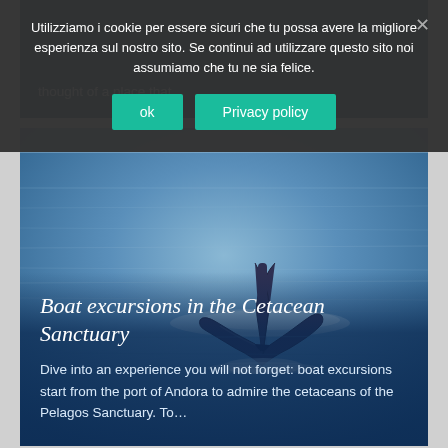Utilizziamo i cookie per essere sicuri che tu possa avere la migliore esperienza sul nostro sito. Se continui ad utilizzare questo sito noi assumiamo che tu ne sia felice.
ok
Privacy policy
thought of a place that...
[Figure (photo): A whale tail (fluke) emerging from blue ocean water, photographed from above. The sea is calm with gentle ripples.]
Boat excursions in the Cetacean Sanctuary
Dive into an experience you will not forget: boat excursions start from the port of Andora to admire the cetaceans of the Pelagos Sanctuary. To...